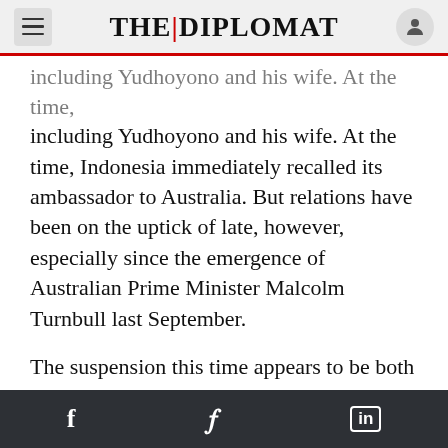THE DIPLOMAT
including Yudhoyono and his wife. At the time, Indonesia immediately recalled its ambassador to Australia. But relations have been on the uptick of late, however, especially since the emergence of Australian Prime Minister Malcolm Turnbull last September.
The suspension this time appears to be both less clear and more limited. Australian Defense Minister Marisa Payne eventually confirmed Indonesian media reports that the suspension had to do with concerns raised by a TNI official about some teaching materials at an Army language training facility in Australia. But she also indicated that the
f  𝐹  in